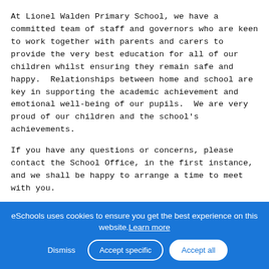At Lionel Walden Primary School, we have a committed team of staff and governors who are keen to work together with parents and carers to provide the very best education for all of our children whilst ensuring they remain safe and happy.  Relationships between home and school are key in supporting the academic achievement and emotional well-being of our pupils.  We are very proud of our children and the school's achievements.
If you have any questions or concerns, please contact the School Office, in the first instance, and we shall be happy to arrange a time to meet with you.
Mr Steve Abey
Headteacher
Read more...
eSchools uses cookies to ensure you get the best experience on this website. Learn more
Dismiss   Accept specific   Accept all